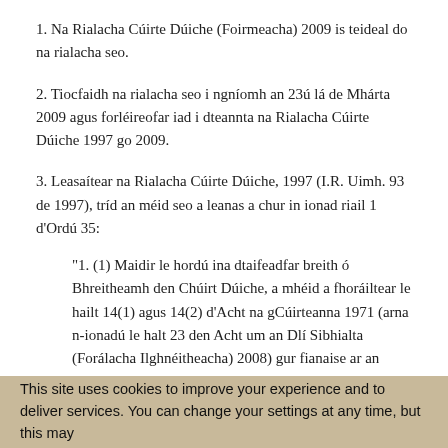1. Na Rialacha Cúirte Dúiche (Foirmeacha) 2009 is teideal do na rialacha seo.
2. Tiocfaidh na rialacha seo i ngníomh an 23ú lá de Mhárta 2009 agus forléireofar iad i dteannta na Rialacha Cúirte Dúiche 1997 go 2009.
3. Leasaítear na Rialacha Cúirte Dúiche, 1997 (I.R. Uimh. 93 de 1997), tríd an méid seo a leanas a chur in ionad riail 1 d'Ordú 35:
“1. (1) Maidir le hordú ina dtaifeadfar breith ó Bhreitheamh den Chúirt Dúiche, a mhéid a fhoráiltear le hailt 14(1) agus 14(2) d'Acht na gCúirteanna 1971 (arna n-ionadú le halt 23 den Acht um an Dlí Sibhialta (Forálacha Ilghnéitheacha) 2008) gur fianaise ar an mbreith sin in aon imeachtaí dlí é ordú arna shíniú amhlaidh, féadfaidh Breitheamh nó (ar choinníoll go
This site uses cookies to improve your experience and to deliver services. You can change your settings at any time, but this may